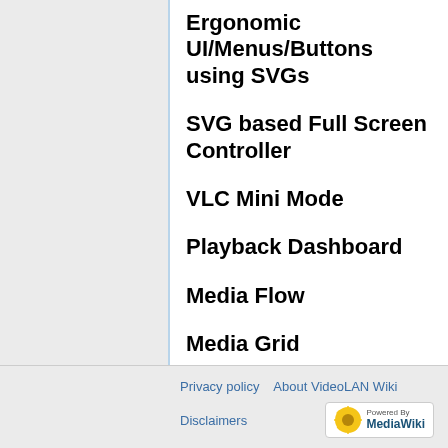Ergonomic UI/Menus/Buttons using SVGs
SVG based Full Screen Controller
VLC Mini Mode
Playback Dashboard
Media Flow
Media Grid
'Page last updated on 3rd June 2009'
Privacy policy   About VideoLAN Wiki   Disclaimers   Powered By MediaWiki